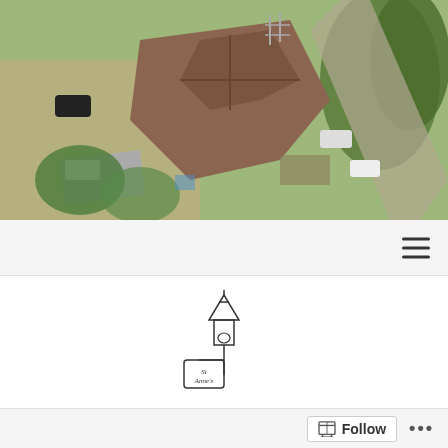[Figure (photo): Aerial drone photograph of a building under construction, surrounded by trees, a dirt road, and parked vehicles. Brown roof structure visible from above with scaffolding and construction materials.]
[Figure (logo): Line-drawing logo of a church bell tower with a sign reading 'St Annes'. Sketch style illustration in black and white.]
ST. ANNE'S
[Figure (screenshot): Bottom follow bar with a Follow button and three-dots menu button.]